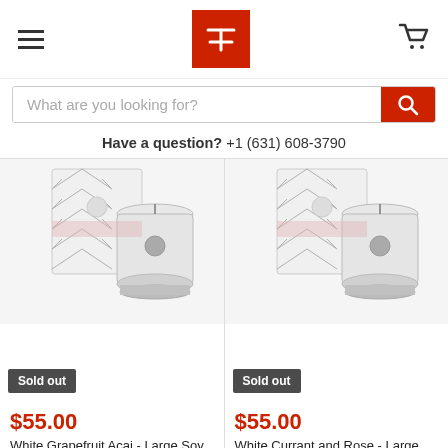[Figure (screenshot): Website header with hamburger menu icon on left, red logo box with white symbol in center, shopping cart icon on right]
[Figure (screenshot): Search bar with placeholder text 'What are you looking for?' and red search button on right]
Have a question?  +1 (631) 608-3790
[Figure (photo): Product photo of White Grapefruit Acai Large Soy Candle with gift box, black and white pattern box behind white ceramic candle vessel. Badge: Sold out. Price: $55.00]
[Figure (photo): Product photo of White Currant and Rose Large Soy Candle with gift box, black and white pattern box behind white ceramic candle vessel. Badge: Sold out. Price: $55.00]
$55.00
White Grapefruit Acai - Large Soy Candle /Gift Box
Aquiesse
$55.00
White Currant and Rose - Large Soy Candle /Gift Box
Aquiesse